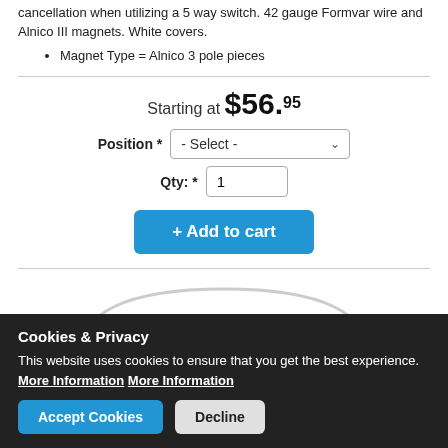cancellation when utilizing a 5 way switch. 42 gauge Formvar wire and Alnico III magnets. White covers.
Magnet Type = Alnico 3 pole pieces
Starting at $56.95
Position * - Select -
Qty: * 1
+ Add to cart
[Figure (photo): Product photo showing white guitar pickup covers, partially visible at bottom of page]
Cookies & Privacy
This website uses cookies to ensure that you get the best experience. More Information More Information
Accept Cookies | Decline